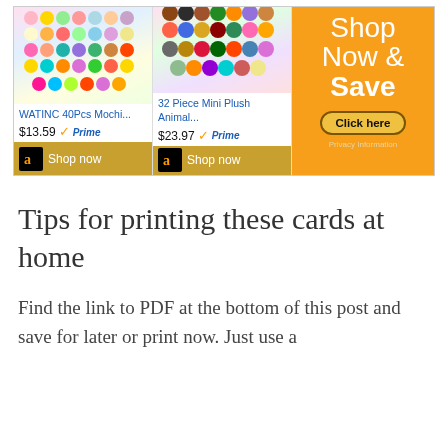[Figure (screenshot): Amazon advertisement banner showing two plush toy products (WATINC 40Pcs Mochi... $13.59 with Prime, and 32 Piece Mini Plush Animal... $23.97 with Prime) and an orange Shop Now & Save panel with Click here button and Privacy Information text.]
Tips for printing these cards at home
Find the link to PDF at the bottom of this post and save for later or print now. Just use a